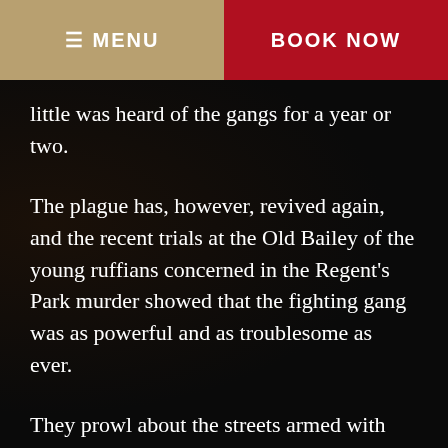MENU | BOOK NOW
little was heard of the gangs for a year or two.
The plague has, however, revived again, and the recent trials at the Old Bailey of the young ruffians concerned in the Regent's Park murder showed that the fighting gang was as powerful and as troublesome as ever.
They prowl about the streets armed with belts and sticks, they fight, and when they get a chance most of them